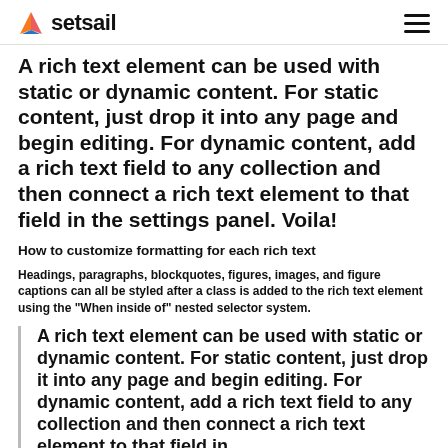setsail
A rich text element can be used with static or dynamic content. For static content, just drop it into any page and begin editing. For dynamic content, add a rich text field to any collection and then connect a rich text element to that field in the settings panel. Voila!
How to customize formatting for each rich text
Headings, paragraphs, blockquotes, figures, images, and figure captions can all be styled after a class is added to the rich text element using the "When inside of" nested selector system.
A rich text element can be used with static or dynamic content. For static content, just drop it into any page and begin editing. For dynamic content, add a rich text field to any collection and then connect a rich text element to that field in